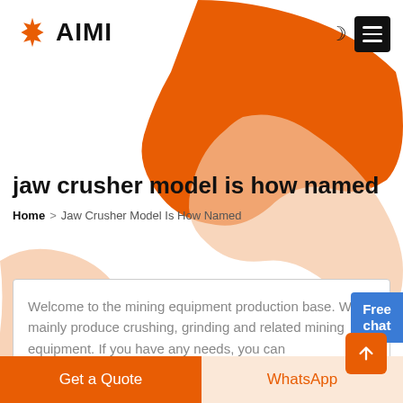AIMI
jaw crusher model is how named
Home > Jaw Crusher Model Is How Named
Free chat
Welcome to the mining equipment production base. We mainly produce crushing, grinding and related mining equipment. If you have any needs, you can
Get a Quote
WhatsApp